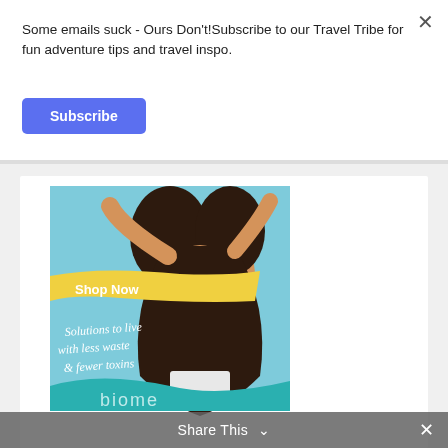Some emails suck - Ours Don't!Subscribe to our Travel Tribe for fun adventure tips and travel inspo.
Subscribe
[Figure (illustration): Advertisement for Biome showing a woman with curly hair, arms raised, eyes closed, smiling against a blue sky background. Yellow brushstroke with 'Shop Now' text. White cursive text reads 'Solutions to live with less waste & fewer toxins'. Teal wave at bottom with 'biome' logo.]
Share This